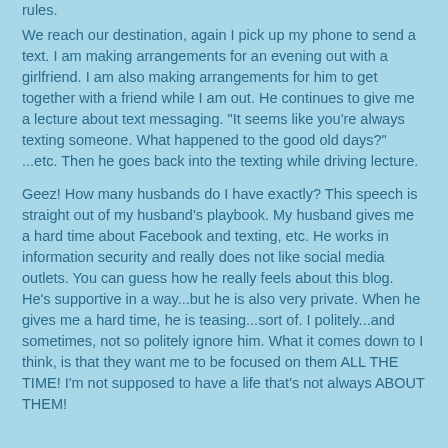rules.
We reach our destination, again I pick up my phone to send a text.  I am making arrangements for an evening out with a girlfriend.  I am also making arrangements for him to get together with a friend while I am out.  He continues to give me a lecture about text messaging.  "It seems like you're always texting someone.  What happened to the good old days?" ...etc.  Then he goes back into the texting while driving lecture.
Geez! How many husbands do I have exactly? This speech is straight out of my husband's playbook. My husband gives me a hard time about Facebook and texting, etc.  He works in information security and really does not like social media outlets.  You can guess how he really feels about this blog.  He's supportive in a way...but he is also very private.  When he gives me a hard time, he is teasing...sort of.  I politely...and sometimes, not so politely ignore him.  What it comes down to I think, is that they want me to be focused on them ALL THE TIME! I'm not supposed to have a life that's not always ABOUT THEM!